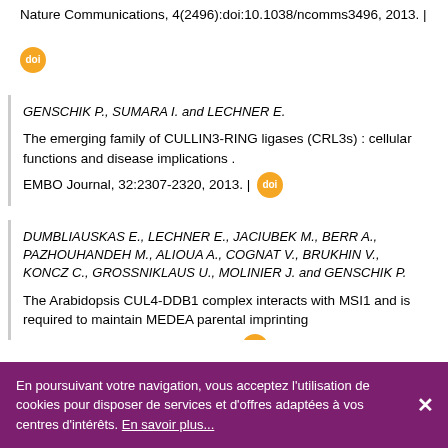Nature Communications, 4(2496):doi:10.1038/ncomms3496, 2013. | doi
GENSCHIK P., SUMARA I. and LECHNER E.
The emerging family of CULLIN3-RING ligases (CRL3s) : cellular functions and disease implications . EMBO Journal, 32:2307-2320, 2013. | doi
DUMBLIAUSKAS E., LECHNER E., JACIUBEK M., BERR A., PAZHOUHANDEH M., ALIOUA A., COGNAT V., BRUKHIN V., KONCZ C., GROSSNIKLAUS U., MOLINIER J. and GENSCHIK P.
The Arabidopsis CUL4-DDB1 complex interacts with MSI1 and is required to maintain MEDEA parental imprinting EMBO Journal, 30:731-743, 2011. | doi
En poursuivant votre navigation, vous acceptez l'utilisation de cookies pour disposer de services et d'offres adaptées à vos centres d'intérêts. En savoir plus...